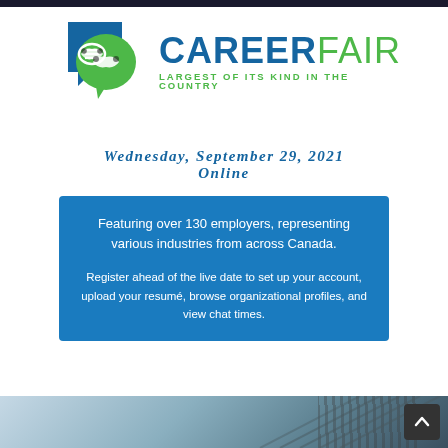[Figure (logo): Career Fair logo with two speech bubbles (blue and green) containing handshake icons, next to the text CAREERFAIR in blue and green with tagline LARGEST OF ITS KIND IN THE COUNTRY]
Wednesday, September 29, 2021
Online
Featuring over 130 employers, representing various industries from across Canada.

Register ahead of the live date to set up your account, upload your resumé, browse organizational profiles, and view chat times.